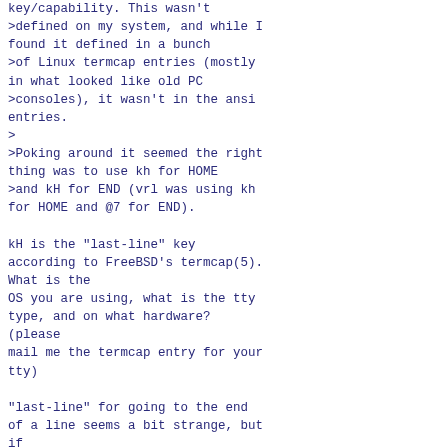key/capability. This wasn't
>defined on my system, and while I
found it defined in a bunch
>of Linux termcap entries (mostly
in what looked like old PC
>consoles), it wasn't in the ansi
entries.
>
>Poking around it seemed the right
thing was to use kh for HOME
>and kH for END (vrl was using kh
for HOME and @7 for END).

kH is the "last-line" key
according to FreeBSD's termcap(5).
What is the
OS you are using, what is the tty
type, and on what hardware?
(please
mail me the termcap entry for your
tty)

"last-line" for going to the end
of a line seems a bit strange, but
if
that is what your tty sends when
you hit the End key... I could
fall back
to kH if there is no @7 defined.

>